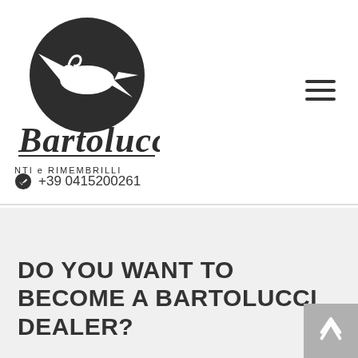[Figure (logo): Bartolucci logo: dark circle with stylized bird/key shape, script text 'Bartolucci' below, subtitle 'INCANTI e RIMEMBRILLI']
[Figure (other): Hamburger menu icon (three horizontal lines)]
+39 0415200261
DO YOU WANT TO BECOME A BARTOLUCCI DEALER?